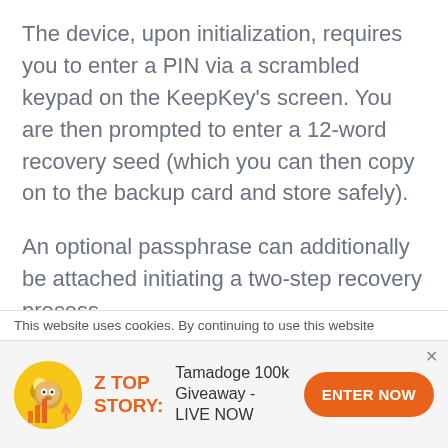The device, upon initialization, requires you to enter a PIN via a scrambled keypad on the KeepKey’s screen. You are then prompted to enter a 12-word recovery seed (which you can then copy on to the backup card and store safely).
An optional passphrase can additionally be attached initiating a two-step recovery process.
If your device is lost or stolen, you can then recover your keys via your recovery sentence and passphrase. if one was applied. You can also recover
This website uses cookies. By continuing to use this website
Z TOP STORY: Tamadoge 100k Giveaway - LIVE NOW ENTER NOW